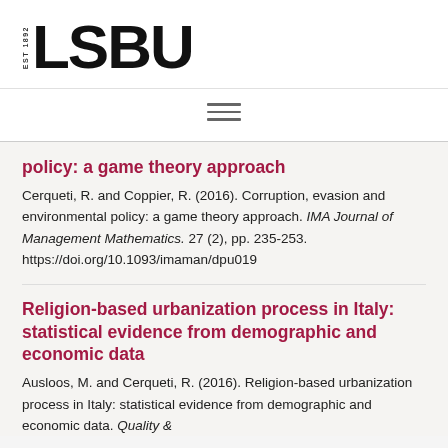[Figure (logo): LSBU logo with EST 1892 text and bold LSBU wordmark]
policy: a game theory approach
Cerqueti, R. and Coppier, R. (2016). Corruption, evasion and environmental policy: a game theory approach. IMA Journal of Management Mathematics. 27 (2), pp. 235-253. https://doi.org/10.1093/imaman/dpu019
Religion-based urbanization process in Italy: statistical evidence from demographic and economic data
Ausloos, M. and Cerqueti, R. (2016). Religion-based urbanization process in Italy: statistical evidence from demographic and economic data. Quality &